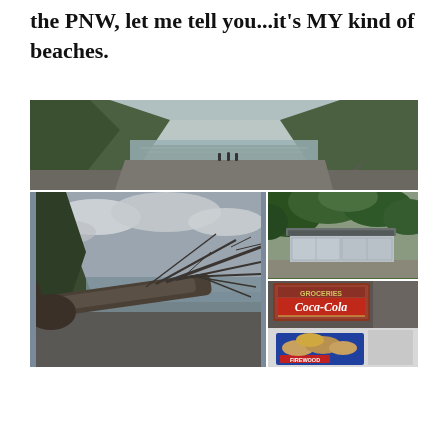...it's MY kind of beaches.
[Figure (photo): Wide panoramic view of a dark sandy beach with calm water, two figures in the distance, flanked by green forested hills on the left and right, overcast sky.]
[Figure (photo): A fallen driftwood tree with bare branches lying across a dark sandy beach road, forested cliffs behind, cloudy sky.]
[Figure (photo): A small roadside building or shed with a corrugated roof, surrounded by tropical green vegetation.]
[Figure (photo): Interior of a small shop showing a vintage Groceries Coca-Cola sign above a Firewood box/crate filled with bread or food items.]